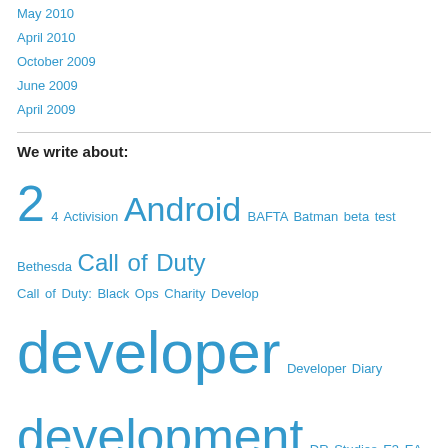May 2010
April 2010
October 2009
June 2009
April 2009
We write about:
2 4 Activision Android BAFTA Batman beta test Bethesda Call of Duty Call of Duty: Black Ops Charity Develop developer Developer Diary development DR Studios E3 EA EGX Epic Games eSports Eurogamer Final Fantasy free-to-play game Game Art & Animation Game Design Game Development games Games design Games Developer